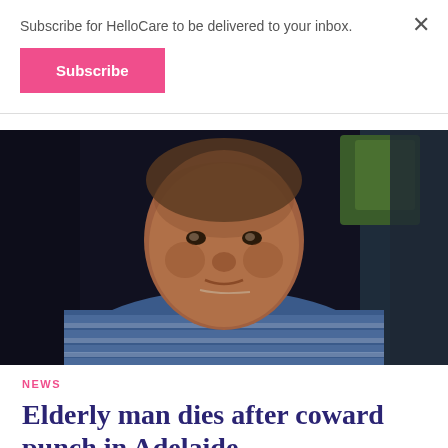Subscribe for HelloCare to be delivered to your inbox.
Subscribe
[Figure (photo): Close-up photo of an elderly man wearing a blue striped polo shirt, photographed indoors with a dark background and some green visible behind him.]
NEWS
Elderly man dies after coward punch in Adelaide